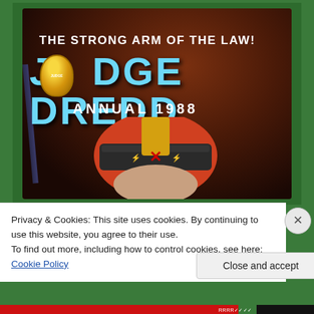[Figure (photo): Photograph of a Judge Dredd Annual 1988 book cover on a green surface. The cover shows the title 'THE STRONG ARM OF THE LAW! JUDGE DREDD ANNUAL 1988' in large stylized text with a Judge badge logo replacing the 'O' in Judge, and an illustration of Judge Dredd's helmeted face below.]
Privacy & Cookies: This site uses cookies. By continuing to use this website, you agree to their use.
To find out more, including how to control cookies, see here: Cookie Policy
Close and accept